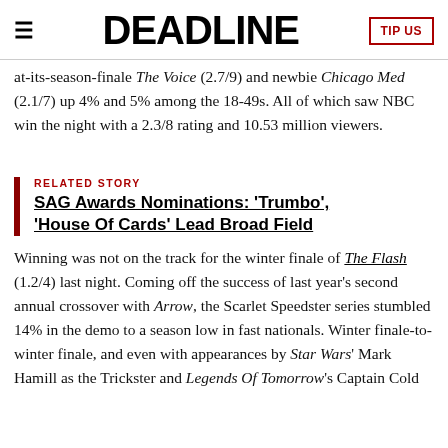DEADLINE | TIP US
at-its-season-finale The Voice (2.7/9) and newbie Chicago Med (2.1/7) up 4% and 5% among the 18-49s. All of which saw NBC win the night with a 2.3/8 rating and 10.53 million viewers.
RELATED STORY
SAG Awards Nominations: 'Trumbo', 'House Of Cards' Lead Broad Field
Winning was not on the track for the winter finale of The Flash (1.2/4) last night. Coming off the success of last year's second annual crossover with Arrow, the Scarlet Speedster series stumbled 14% in the demo to a season low in fast nationals. Winter finale-to-winter finale, and even with appearances by Star Wars' Mark Hamill as the Trickster and Legends Of Tomorrow's Captain Cold